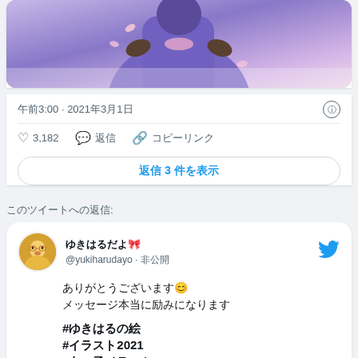[Figure (illustration): Anime-style illustration with purple/violet costume character, pink cherry blossom petals, light pink background]
午前3:00 · 2021年3月1日
♡ 3,182  💬 返信  🔗 コピーリンク
返信 3 件を表示
このツイートへの返信:
@yukiharudayo · 非公開
ありがとうございます😊
メッセージ本当に励みになります

#ユキハルの絵
#イラスト2021
#女の子イラスト2021